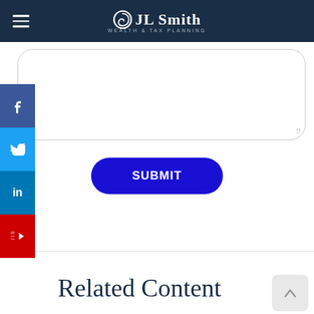JL Smith Wealth & Tax Planning
[Figure (screenshot): Social media sidebar with Facebook, Twitter, LinkedIn, and YouTube buttons]
[Figure (other): Empty textarea input field with rounded corners and resize handle]
SUBMIT
Related Content
[Figure (photo): Bottom partial image strip]